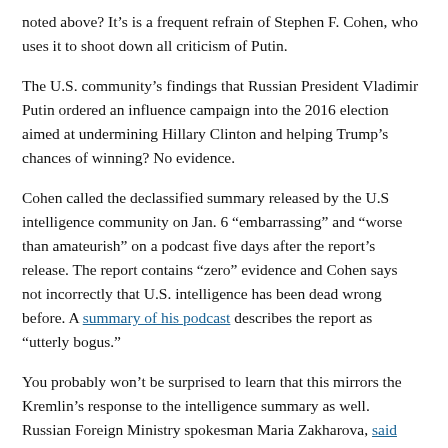noted above? It's is a frequent refrain of Stephen F. Cohen, who uses it to shoot down all criticism of Putin.
The U.S. community's findings that Russian President Vladimir Putin ordered an influence campaign into the 2016 election aimed at undermining Hillary Clinton and helping Trump's chances of winning? No evidence.
Cohen called the declassified summary released by the U.S intelligence community on Jan. 6 “embarrassing” and “worse than amateurish” on a podcast five days after the report’s release. The report contains “zero” evidence and Cohen says not incorrectly that U.S. intelligence has been dead wrong before. A summary of his podcast describes the report as “utterly bogus.”
You probably won’t be surprised to learn that this mirrors the Kremlin’s response to the intelligence summary as well. Russian Foreign Ministry spokesman Maria Zakharova, said Jan. 12, “Accusations are usually based on facts, dates and figures. This report is based on claims. There is nothing new in it for anyone, nothing but yet another compilation of absurd stereotypes.”